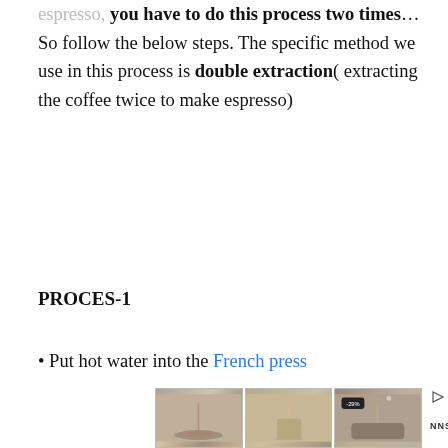espresso, you have to do this process two times… So follow the below steps. The specific method we use in this process is double extraction( extracting the coffee twice to make espresso)
PROCES-1
• Put hot water into the French press
[Figure (photo): Advertisement showing three pairs of shoes/sandals with a -29% badge on the rightmost image, and NNSTREE branding]